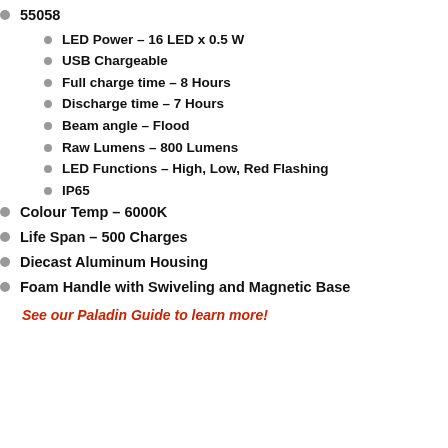55058
LED Power – 16 LED x 0.5 W
USB Chargeable
Full charge time – 8 Hours
Discharge time – 7 Hours
Beam angle – Flood
Raw Lumens – 800 Lumens
LED Functions – High, Low, Red Flashing
IP65
Colour Temp – 6000K
Life Span – 500 Charges
Diecast Aluminum Housing
Foam Handle with Swiveling and Magnetic Base
See our Paladin Guide to learn more!